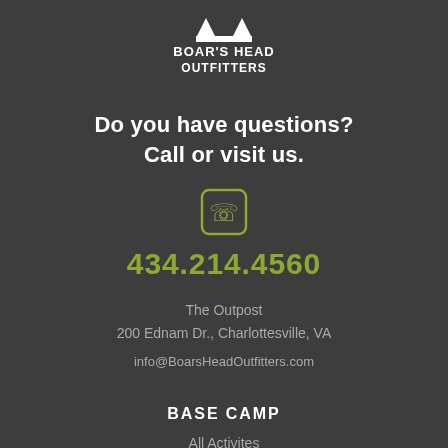[Figure (logo): Boar's Head Outfitters logo — white text with graphic emblem on dark background]
Do you have questions?
Call or visit us.
[Figure (illustration): Phone handset icon inside a rounded rectangle, olive/yellow-green color]
434.214.4560
The Outpost
200 Ednam Dr., Charlottesville, VA
info@BoarsHeadOutfitters.com
BASE CAMP
All Activites